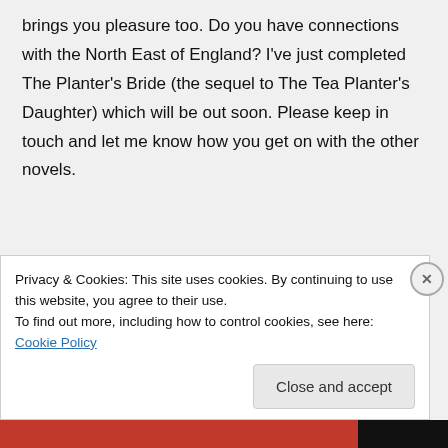brings you pleasure too. Do you have connections with the North East of England? I've just completed The Planter's Bride (the sequel to The Tea Planter's Daughter) which will be out soon. Please keep in touch and let me know how you get on with the other novels.
Best wishes
Janet
★ Like
Privacy & Cookies: This site uses cookies. By continuing to use this website, you agree to their use.
To find out more, including how to control cookies, see here: Cookie Policy
Close and accept